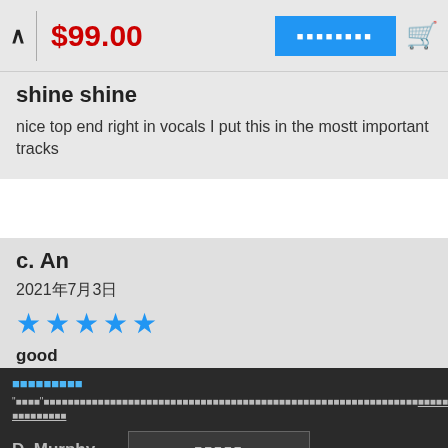$99.00
shine shine
nice top end right in vocals I put this in the mostt important tracks
c. An
2021年7月3日
★★★★★
good
D. Murphy
2021年7月